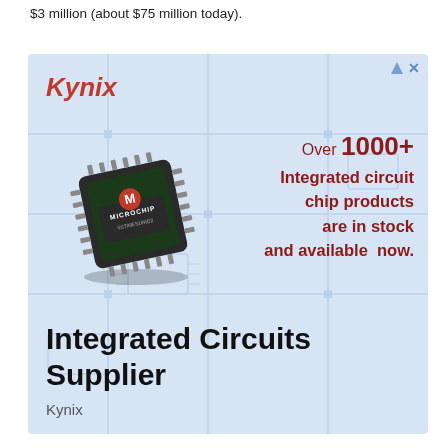$3 million (about $75 million today).
[Figure (illustration): Kynix advertisement banner showing a Microchip integrated circuit chip (SST89E516RD2), with text 'Over 1000+ Integrated circuit chip products are in stock and available now.' and bottom text 'Integrated Circuits Supplier' by Kynix]